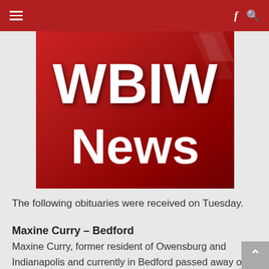[Figure (logo): WBIW News logo — large bold white letters 'WBIW' and 'News' on a dark red background with a diagonal light streak]
The following obituaries were received on Tuesday.
Maxine Curry – Bedford
Maxine Curry, former resident of Owensburg and Indianapolis and currently in Bedford passed away on Sunday, March 20th at Stonebridge Health Campus at the age of 98. Born in 1913 in Monroe County to Craig and Thursa Sare, she had been married to Howard